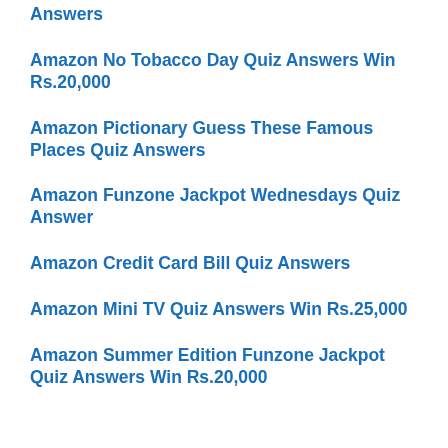Answers
Amazon No Tobacco Day Quiz Answers Win Rs.20,000
Amazon Pictionary Guess These Famous Places Quiz Answers
Amazon Funzone Jackpot Wednesdays Quiz Answer
Amazon Credit Card Bill Quiz Answers
Amazon Mini TV Quiz Answers Win Rs.25,000
Amazon Summer Edition Funzone Jackpot Quiz Answers Win Rs.20,000